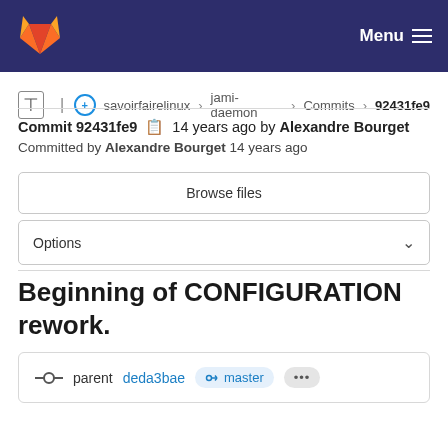GitLab – Menu
savoirfairelinux › jami-daemon › Commits › 92431fe9
Commit 92431fe9  14 years ago by Alexandre Bourget
Committed by Alexandre Bourget 14 years ago
Browse files
Options
Beginning of CONFIGURATION rework.
parent deda3bae  master  ...